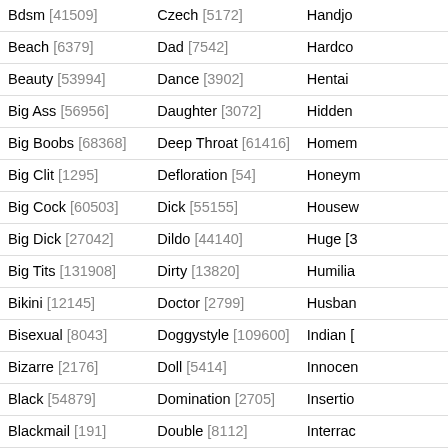| Category | Category | Category |
| --- | --- | --- |
| Bdsm [41509] | Czech [5172] | Handjo… |
| Beach [6379] | Dad [7542] | Hardco… |
| Beauty [53994] | Dance [3902] | Hentai… |
| Big Ass [56956] | Daughter [3072] | Hidden… |
| Big Boobs [68368] | Deep Throat [61416] | Homem… |
| Big Clit [1295] | Defloration [54] | Honeym… |
| Big Cock [60503] | Dick [55155] | Housew… |
| Big Dick [27042] | Dildo [44140] | Huge [3… |
| Big Tits [131908] | Dirty [13820] | Humilia… |
| Bikini [12145] | Doctor [2799] | Husban… |
| Bisexual [8043] | Doggystyle [109600] | Indian [… |
| Bizarre [2176] | Doll [5414] | Innocen… |
| Black [54879] | Domination [2705] | Insertio… |
| Blackmail [191] | Double [8112] | Interrac… |
| Blindfolded [1773] | Drunk [1905] | Italian [… |
| Blonde [173690] | Ebony [23376] | Jail [79… |
| Blowjob [303910] | Emo [1388] | Japane… |
| Bodybuilder [286] | Erotic [13671] | Jeans [… |
| Bondage [15323] | Escort [1798] | Jerking… |